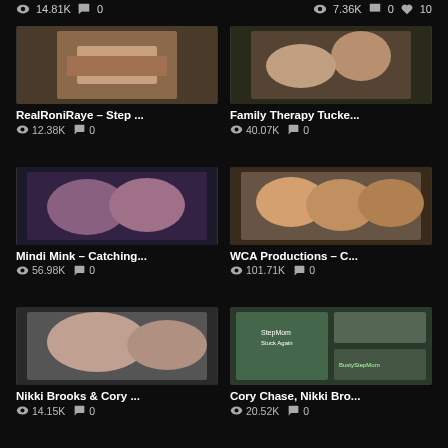14.81K  0  |  7.36K  0  10
[Figure (photo): Thumbnail for RealRoniRaye – Step ...]
RealRoniRaye – Step ...
12.38K  0
[Figure (photo): Thumbnail for Family Therapy Tucke...]
Family Therapy Tucke...
40.07K  0
[Figure (photo): Thumbnail for Mindi Mink – Catching...]
Mindi Mink – Catching...
56.98K  0
[Figure (photo): Thumbnail for WCA Productions – C...]
WCA Productions – C...
101.71K  0
[Figure (photo): Thumbnail for Nikki Brooks & Cory ...]
Nikki Brooks & Cory ...
14.15K  0
[Figure (photo): Thumbnail for Cory Chase, Nikki Bro...]
Cory Chase, Nikki Bro...
20.52K  0